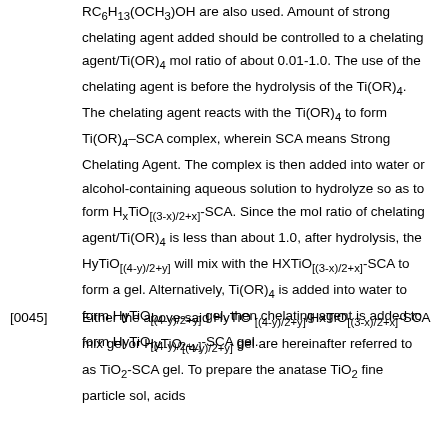RC6H13(OCH3)OH are also used. Amount of strong chelating agent added should be controlled to a chelating agent/Ti(OR)4 mol ratio of about 0.01-1.0. The use of the chelating agent is before the hydrolysis of the Ti(OR)4. The chelating agent reacts with the Ti(OR)4 to form Ti(OR)4–SCA complex, wherein SCA means Strong Chelating Agent. The complex is then added into water or alcohol-containing aqueous solution to hydrolyze so as to form HxTiO[(3-x)/2+x]-SCA. Since the mol ratio of chelating agent/Ti(OR)4 is less than about 1.0, after hydrolysis, the HyTiO[(4-y)/2+y] will mix with the HXTiO[(3-x)/2+x]-SCA to form a gel. Alternatively, Ti(OR)4 is added into water to form HyTiO[(4-y)/2+y] gel, then chelating agent is added to form HyTiO[(4-y)/2+y]-SCA gel.
[0045] Either the above-said HyTiO [(4-y)/2+y]/HxTiO[(3-x)/2+x]-SCA mix gel or HyTiO[(4-y)/2+y] gel are hereinafter referred to as TiO2-SCA gel. To prepare the anatase TiO2 fine particle sol, acids